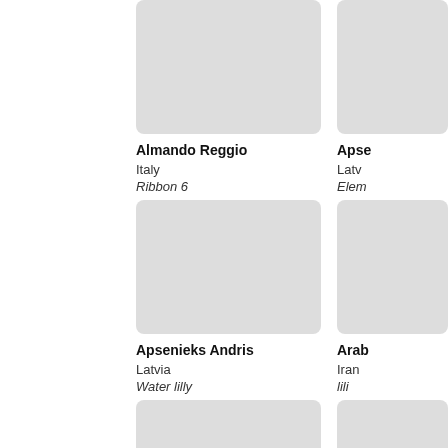[Figure (photo): Portrait photo placeholder - gray rectangle with rounded corners, for Almando Reggio]
Almando Reggio
Italy
Ribbon 6
[Figure (photo): Portrait photo placeholder - gray rectangle with rounded corners, for Apse... (partially visible)]
Apse...
Latv...
Elem...
[Figure (photo): Portrait photo placeholder - gray rectangle with rounded corners, for Apsenieks Andris]
Apsenieks Andris
Latvia
Water lilly
[Figure (photo): Portrait photo placeholder - gray rectangle with rounded corners, for Arab... (partially visible)]
Arab...
Iran
lili
[Figure (photo): Portrait photo placeholder - gray rectangle with rounded corners, bottom row left, partially visible]
[Figure (photo): Portrait photo placeholder - gray rectangle with rounded corners, bottom row right, partially visible]